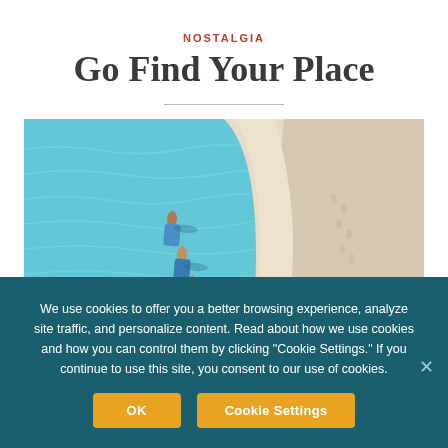NOSTALGIA
Go Find Your Place
[Figure (photo): Aerial drone view of three people lying on a white sand beach at the edge of turquoise ocean water, with footprints visible in the sand]
We use cookies to offer you a better browsing experience, analyze site traffic, and personalize content. Read about how we use cookies and how you can control them by clicking "Cookie Settings." If you continue to use this site, you consent to our use of cookies.
OK | Cookie Settings